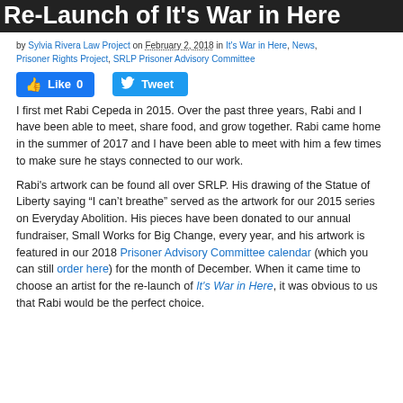Re-Launch of It's War in Here
by Sylvia Rivera Law Project on February 2, 2018 in It's War in Here, News, Prisoner Rights Project, SRLP Prisoner Advisory Committee
[Figure (other): Social media buttons: Facebook Like (0) and Tweet]
I first met Rabi Cepeda in 2015. Over the past three years, Rabi and I have been able to meet, share food, and grow together. Rabi came home in the summer of 2017 and I have been able to meet with him a few times to make sure he stays connected to our work.
Rabi's artwork can be found all over SRLP. His drawing of the Statue of Liberty saying “I can’t breathe” served as the artwork for our 2015 series on Everyday Abolition. His pieces have been donated to our annual fundraiser, Small Works for Big Change, every year, and his artwork is featured in our 2018 Prisoner Advisory Committee calendar (which you can still order here) for the month of December. When it came time to choose an artist for the re-launch of It's War in Here, it was obvious to us that Rabi would be the perfect choice.